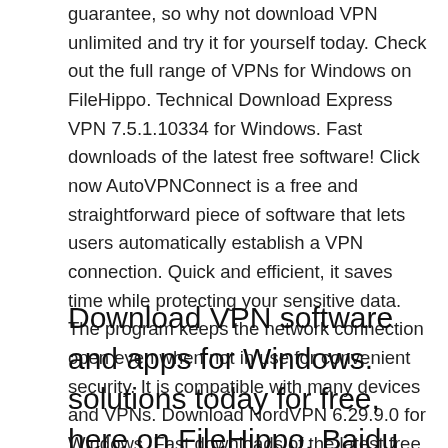guarantee, so why not download VPN unlimited and try it for yourself today. Check out the full range of VPNs for Windows on FileHippo. Technical Download Express VPN 7.5.1.10334 for Windows. Fast downloads of the latest free software! Click now AutoVPNConnect is a free and straightforward piece of software that lets users automatically establish a VPN connection. Quick and efficient, it saves time while protecting your sensitive data. The program keeps the network connection open even when not in use for convenient security. It is compatible with many devices and VPNs. Download NordVPN 6.29.9.0 for Windows. Fast downloads of the latest free software! Radmin VPN is a free and easy-to-use software product which creates a virtual
Download VPN software and apps for Windows. solutions today for free, here on FileHippo. Baidu WiFi Hotspot